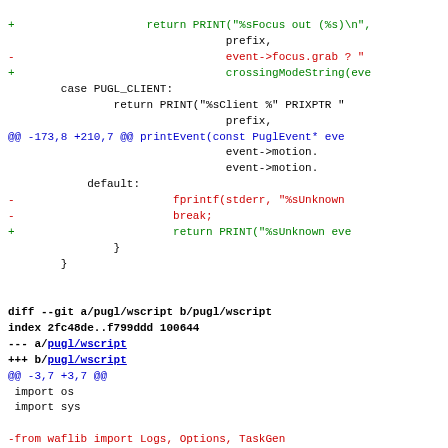Code diff showing changes to pugl/wscript and related C source files
+                    return PRINT("%sFocus out (%s)\n",
                                 prefix,
-                                event->focus.grab ? "
+                                crossingModeString(eve
        case PUGL_CLIENT:
                return PRINT("%sClient %" PRIXPTR "
                                 prefix,
@@ -173,8 +210,7 @@ printEvent(const PuglEvent* eve
                                 event->motion.
                                 event->motion.
            default:
-                        fprintf(stderr, "%sUnknown
-                        break;
+                        return PRINT("%sUnknown eve
                }
        }
diff --git a/pugl/wscript b/pugl/wscript
index 2fc48de..f799ddd 100644
--- a/pugl/wscript
+++ b/pugl/wscript
@@ -3,7 +3,7 @@
 import os
 import sys

-from waflib import Logs, Options, TaskGen
+from waflib import Build, Logs, Options, TaskGen
 from waflib.extras import autowaf

 # Library and package version (UNIX style major